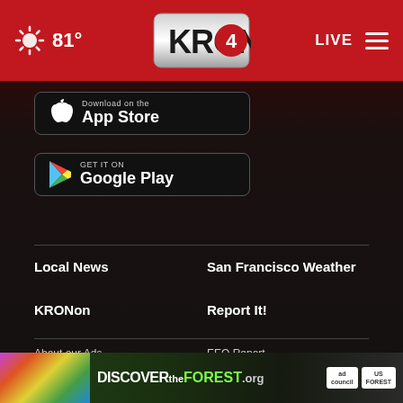KRON4 - 81° - LIVE
[Figure (screenshot): Download on the App Store button - black rounded rectangle with Apple logo]
[Figure (screenshot): GET IT ON Google Play button - black rounded rectangle with Google Play triangle logo]
Local News
San Francisco Weather
KRONon
Report It!
About our Ads
EEO Report
FCC Pu...
[Figure (infographic): DISCOVERtheFOREST.org ad banner with ad council and US Forest Service logos]